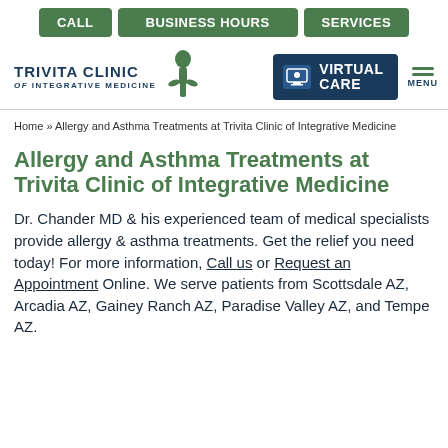CALL | BUSINESS HOURS | SERVICES
[Figure (logo): Trivita Clinic of Integrative Medicine logo with plant icon, Virtual Care button, and Menu icon]
Home » Allergy and Asthma Treatments at Trivita Clinic of Integrative Medicine
Allergy and Asthma Treatments at Trivita Clinic of Integrative Medicine
Dr. Chander MD & his experienced team of medical specialists provide allergy & asthma treatments. Get the relief you need today! For more information, Call us or Request an Appointment Online. We serve patients from Scottsdale AZ, Arcadia AZ, Gainey Ranch AZ, Paradise Valley AZ, and Tempe AZ.